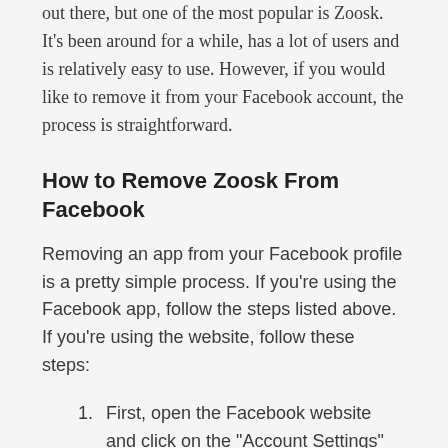out there, but one of the most popular is Zoosk. It's been around for a while, has a lot of users and is relatively easy to use. However, if you would like to remove it from your Facebook account, the process is straightforward.
How to Remove Zoosk From Facebook
Removing an app from your Facebook profile is a pretty simple process. If you're using the Facebook app, follow the steps listed above. If you're using the website, follow these steps:
First, open the Facebook website and click on the "Account Settings" button in the top right corner of the screen.